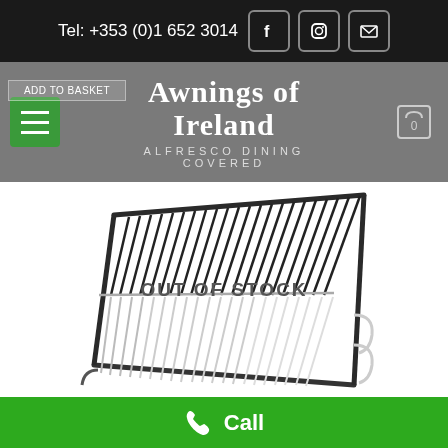Tel: +353 (0)1 652 3014
Awnings of Ireland
ALFRESCO DINING COVERED
[Figure (photo): A barbecue grill rack/grate shown in perspective view, with dark metal bars on top half and lighter/white bars on bottom half, with OUT OF STOCK overlay text]
OUT OF STOCK
Call